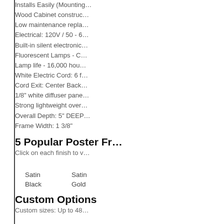Installs Easily (Mounting…
Wood Cabinet construc…
Low maintenance repla…
Electrical: 120V / 50 - 6…
Built-in silent electronic…
Fluorescent Lamps - C…
Lamp life - 16,000 hour…
White Electric Cord: 6 f…
Cord Exit: Center Back…
1/8" white diffuser pane…
Strong lightweight over…
Overall Depth: 5" DEEP…
Frame Width: 1 3/8"
5 Popular Poster Fr…
Click on each finish to v…
Satin Black    Satin Gold
Custom Options
Custom sizes: Up to 48…